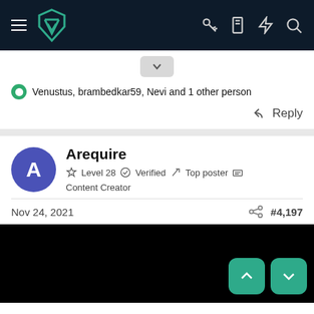[Figure (screenshot): Dark navy navigation bar with hamburger menu, teal shield logo, and icons for key, clipboard, lightning bolt, and search]
Venustus, brambedkar59, Nevi and 1 other person
Reply
Arequire
Level 28  Verified  Top poster  Content Creator
Nov 24, 2021
#4,197
[Figure (photo): Black image content area with teal up and down navigation buttons in the bottom right corner]